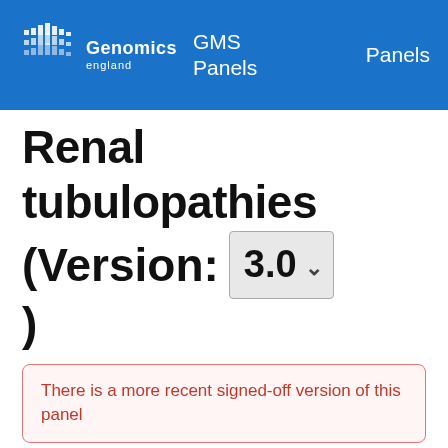Genomics england | GMS Panels | Panels
Renal tubulopathies (Version: 3.0)
There is a more recent signed-off version of this panel
Relevant disorders:
Renal tubular acidosis,